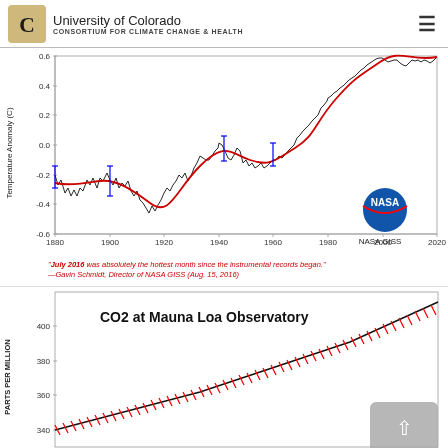University of Colorado — CONSORTIUM FOR CLIMATE CHANGE & HEALTH
[Figure (continuous-plot): NASA GISS temperature anomaly chart from 1880 to 2020, showing temperature anomaly in Celsius on the y-axis ranging from -0.6 to 0.6. Black dots with connecting lines show annual values; red smoothed curve shows the trend, rising sharply after 1980. Blue error bars shown at select years (~1880, 1900, 1945, 1960). NASA logo in lower right corner with 'NASA GISS' text.]
"July 2016 was absolutely the hottest month since the instrumental records began." —Gavin Schmidt, Director of NASA GISS (Aug. 15, 2016)
[Figure (continuous-plot): CO2 at Mauna Loa Observatory chart. Y-axis labeled 'PARTS PER MILLION' with values 340, 360, 380, 400 shown. Black trend line with red seasonal oscillation marks rises steeply from lower left to upper right. Title 'CO2 at Mauna Loa Observatory' in bold black text at top-left of chart area.]